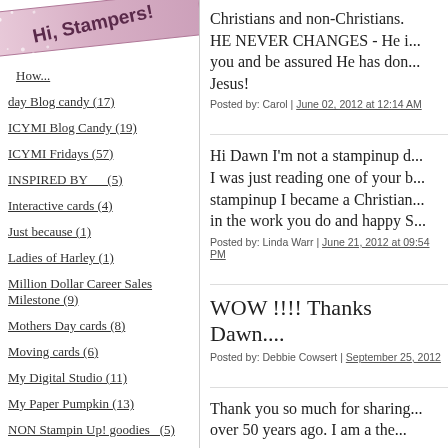[Figure (illustration): Decorative diagonal banner/ribbon with text 'Hi, Stampers!' in pink/purple tones with sparkle dots]
How...
day Blog candy (17)
ICYMI Blog Candy (19)
ICYMI Fridays (57)
INSPIRED BY___(5)
Interactive cards (4)
Just because (1)
Ladies of Harley (1)
Million Dollar Career Sales Milestone (9)
Mothers Day cards (8)
Moving cards (6)
My Digital Studio (11)
My Paper Pumpkin (13)
NON Stampin Up! goodies_(5)
NSP (87)
Christians and non-Christians. HE NEVER CHANGES - He i... you and be assured He has don... Jesus!
Posted by: Carol | June 02, 2012 at 12:14 AM
Hi Dawn I'm not a stampinup d... I was just reading one of your b... stampinup I became a Christian... in the work you do and happy S...
Posted by: Linda Warr | June 21, 2012 at 09:54 PM
WOW !!!! Thanks Dawn....
Posted by: Debbie Cowsert | September 25, 2012
Thank you so much for sharing... over 50 years ago. I am a the...